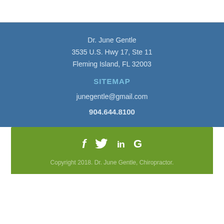Dr. June Gentle
3535 U.S. Hwy 17, Ste 11
Fleming Island, FL 32003
SITEMAP
junegentle@gmail.com
904.644.8100
[Figure (infographic): Social media icons: Facebook (f), Twitter (bird), LinkedIn (in), Google (G)]
Copyright 2018. Dr. June Gentle, Chiropractor.